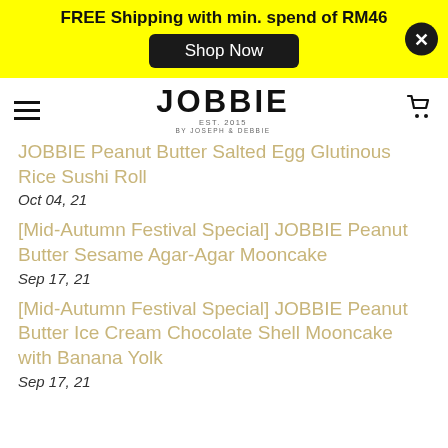FREE Shipping with min. spend of RM46 | Shop Now
[Figure (logo): JOBBIE logo - Est. 2015 by Joseph & Debbie]
JOBBIE Peanut Butter Salted Egg Glutinous Rice Sushi Roll
Oct 04, 21
[Mid-Autumn Festival Special] JOBBIE Peanut Butter Sesame Agar-Agar Mooncake
Sep 17, 21
[Mid-Autumn Festival Special] JOBBIE Peanut Butter Ice Cream Chocolate Shell Mooncake with Banana Yolk
Sep 17, 21